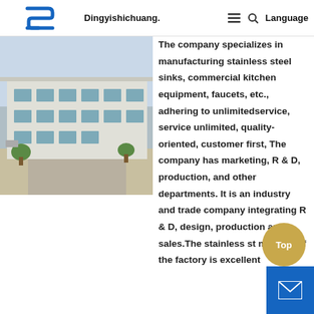Dingyishichuang. Language
[Figure (photo): Exterior view of a factory/warehouse building with trees and a road in the foreground]
The company specializes in manufacturing stainless steel sinks, commercial kitchen equipment, faucets, etc., adhering to unlimitedservice, service unlimited, quality-oriented, customer first, The company has marketing, R & D, production, and other departments. It is an industry and trade company integrating R & D, design, production and sales.The stainless st material of the factory is excellent